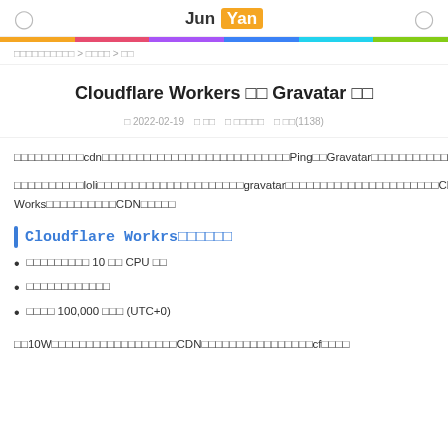Jun Yan
□□□□□□□□□□ > □□□□ > □□
Cloudflare Workers □□ Gravatar □□
□ 2022-02-19   □ □□   □ □□□□□   □ □□(1138)
□□□□□□□□□□cdn□□□□□□□□□□□□□□□□□□□□□□□□□□□Ping□□Gravatar□□□□□□□□□□□□□□□□□□□□□□
□□□□□□□□□□loli□□□□□□□□□□□□□□□□□□□□□gravatar□□□□□□□□□□□□□□□□□□□□□□Cloudflare Works□□□□□□□□□□CDN□□□□□
Cloudflare Workrs□□□□□□
□□□□□□□□□ 10 □□ CPU □□
□□□□□□□□□□□□
□□□□ 100,000 □□□ (UTC+0)
□□10W□□□□□□□□□□□□□□□□□□CDN□□□□□□□□□□□□□□□□cf□□□□